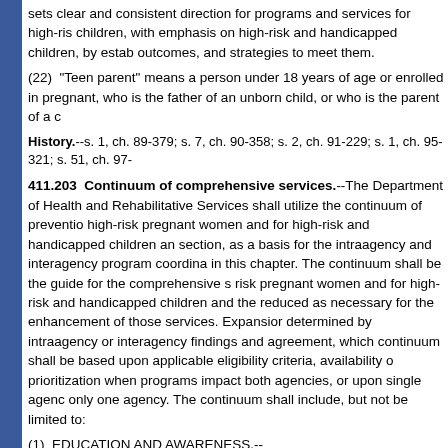sets clear and consistent direction for programs and services for high-risk children, with emphasis on high-risk and handicapped children, by establishing outcomes, and strategies to meet them.
(22) "Teen parent" means a person under 18 years of age or enrolled in pregnant, who is the father of an unborn child, or who is the parent of a c
History.--s. 1, ch. 89-379; s. 7, ch. 90-358; s. 2, ch. 91-229; s. 1, ch. 95-321; s. 51, ch. 97-
411.203 Continuum of comprehensive services.--The Department of Health and Rehabilitative Services shall utilize the continuum of prevention for high-risk pregnant women and for high-risk and handicapped children and this section, as a basis for the intraagency and interagency program coordination in this chapter. The continuum shall be the guide for the comprehensive services risk pregnant women and for high-risk and handicapped children and the services reduced as necessary for the enhancement of those services. Expansion determined by intraagency or interagency findings and agreement, which continuum shall be based upon applicable eligibility criteria, availability of prioritization when programs impact both agencies, or upon single agency only one agency. The continuum shall include, but not be limited to:
(1) EDUCATION AND AWARENESS.--
(a) Education of the public concerning, but not limited to, the causes of abnormal child development, the benefits of abstinence from sexual activ